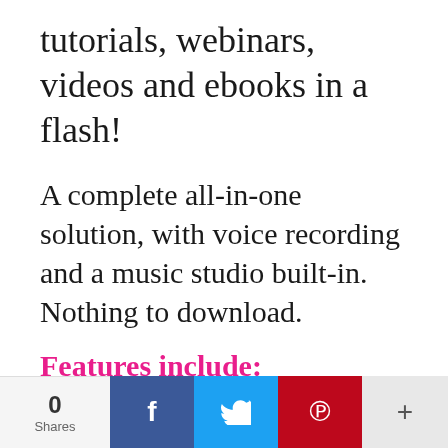tutorials, webinars, videos and ebooks in a flash!
A complete all-in-one solution, with voice recording and a music studio built-in. Nothing to download.
Features include:
50 stunning presentation templates
500 designed slides (by top rated
0 Shares  f  [twitter bird]  p  +